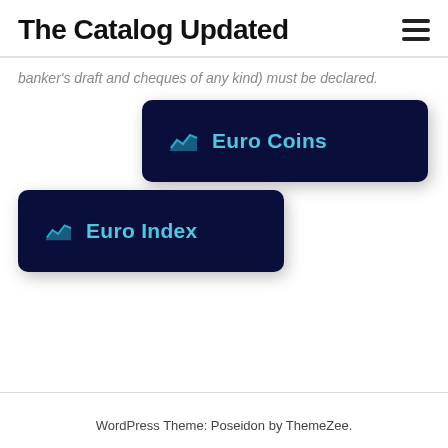The Catalog Updated
banker's draft and cheques of any kind) must be declared.
[Figure (other): Dark navy button with area chart icon and label 'Euro Coins']
[Figure (other): Dark navy button with area chart icon and label 'Euro Index']
WordPress Theme: Poseidon by ThemeZee.